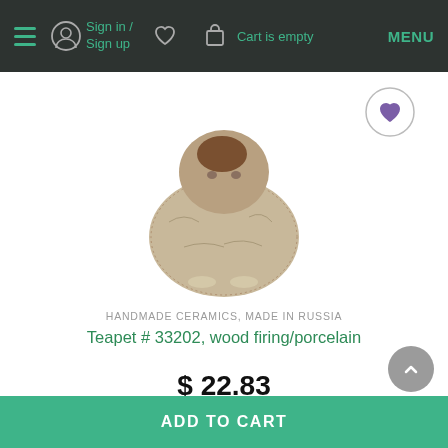Sign in / Sign up  |  ♡  |  Cart is empty  |  MENU
[Figure (photo): A handmade ceramic figurine resembling a small round bird or chick, with a textured beige/brown surface, wood-fired porcelain style]
HANDMADE CERAMICS, MADE IN RUSSIA
Teapet # 33202, wood firing/porcelain
$ 22.83
1 pcs.
ADD TO CART